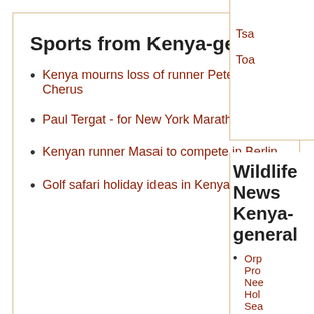Sports from Kenya-general
Kenya mourns loss of runner Peter Kiprotich Cherus
Paul Tergat - for New York Marathon
Kenyan runner Masai to compete in Berlin
Golf safari holiday ideas in Kenya
Tsa...
Toa...
Wildlife News Kenya-general
Orp... Pro... Nee... Hol... Sea...
Afri... pla... the...
Ren...